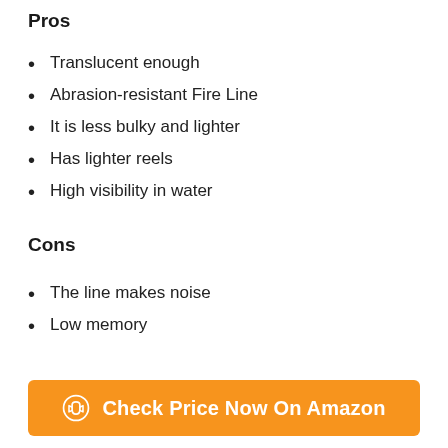Pros
Translucent enough
Abrasion-resistant Fire Line
It is less bulky and lighter
Has lighter reels
High visibility in water
Cons
The line makes noise
Low memory
Check Price Now On Amazon